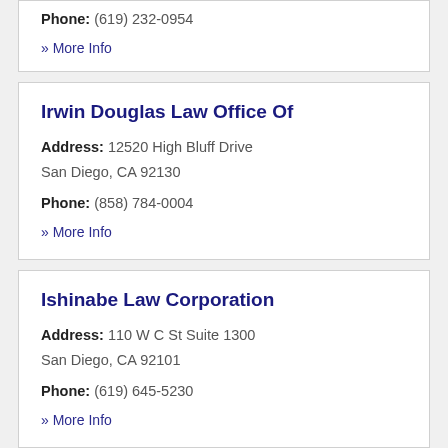Phone: (619) 232-0954
» More Info
Irwin Douglas Law Office Of
Address: 12520 High Bluff Drive San Diego, CA 92130
Phone: (858) 784-0004
» More Info
Ishinabe Law Corporation
Address: 110 W C St Suite 1300 San Diego, CA 92101
Phone: (619) 645-5230
» More Info